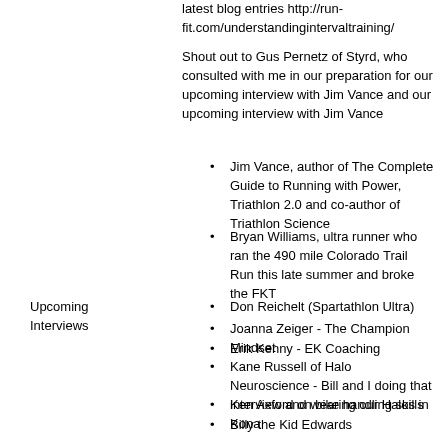latest blog entries http://run-fit.com/understandingintervaltraining/
Shout out to Gus Pernetz of Styrd, who consulted with me in our preparation for our upcoming interview with Jim Vance and our upcoming interview with Jim Vance
Jim Vance, author of The Complete Guide to Running with Power, Triathlon 2.0 and co-author of Triathlon Science
Bryan Williams, ultra runner who ran the 490 mile Colorado Trail Run this late summer and broke the FKT
Don Reichelt (Spartathlon Ultra)
Joanna Zeiger - The Champion Mindset
Erik Kenny - EK Coaching
Kane Russell of Halo Neuroscience - Bill and I doing that interview and wearing our Halos in Kona
Ken Axford on bike handling skills
Billy the Kid Edwards
Upcoming Interviews
Please support the brands that support the show and our listeners.